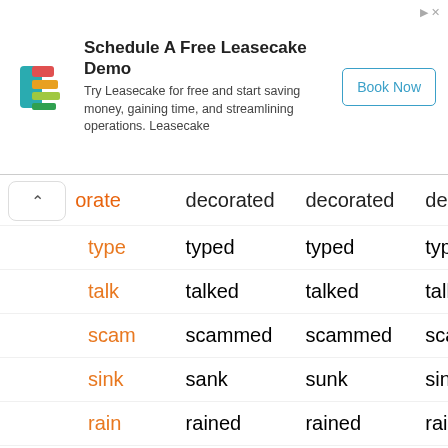[Figure (other): Advertisement banner for Leasecake with logo, headline 'Schedule A Free Leasecake Demo', description text, and 'Book Now' button]
| Base | Past Simple | Past Participle | Present Participle |
| --- | --- | --- | --- |
| (dec)orate | decorated | decorated | decorating |
| type | typed | typed | typing |
| talk | talked | talked | talking |
| scam | scammed | scammed | scamming |
| sink | sank | sunk | sinking |
| rain | rained | rained | raining |
| open | opened | opened | opening |
| maintain | maintained | maintained | maintaining |
| decay | decayed | decayed | decaying |